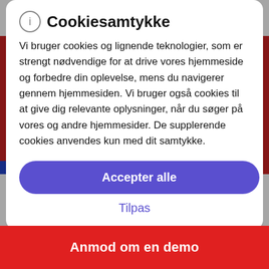Cookiesamtykke
Vi bruger cookies og lignende teknologier, som er strengt nødvendige for at drive vores hjemmeside og forbedre din oplevelse, mens du navigerer gennem hjemmesiden. Vi bruger også cookies til at give dig relevante oplysninger, når du søger på vores og andre hjemmesider. De supplerende cookies anvendes kun med dit samtykke.
Accepter alle
Tilpas
find in other solutions. Instead of reinventing the wheel with a hack or custom code to make a solution do what they want, developers can use
Anmod om en demo